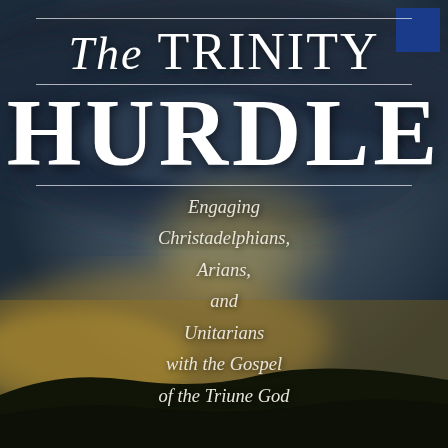[Figure (illustration): Dramatic painted sky landscape with dark stormy clouds, golden yellow light breaking through from behind clouds, dark silhouetted hills at the bottom. Serves as book cover background.]
The TRINITY HURDLE
Engaging Christadelphians, Arians, and Unitarians with the Gospel of the Triune God